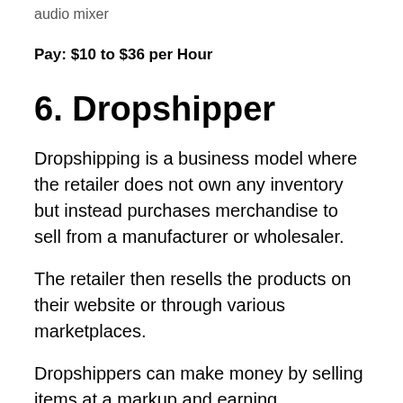audio mixer
Pay: $10 to $36 per Hour
6. Dropshipper
Dropshipping is a business model where the retailer does not own any inventory but instead purchases merchandise to sell from a manufacturer or wholesaler.
The retailer then resells the products on their website or through various marketplaces.
Dropshippers can make money by selling items at a markup and earning commission on sales. Other ways to make money...